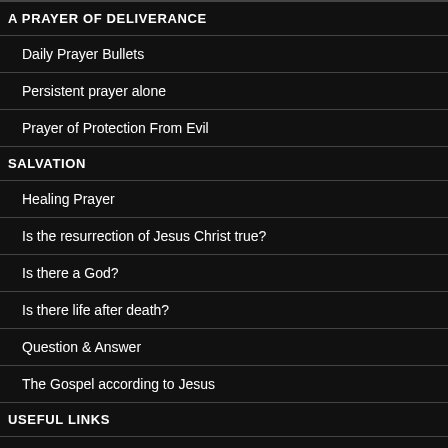A PRAYER OF DELIVERANCE
Daily Prayer Bullets
Persistent prayer alone
Prayer of Protection From Evil
SALVATION
Healing Prayer
Is the resurrection of Jesus Christ true?
Is there a God?
Is there life after death?
Question & Answer
The Gospel according to Jesus
USEFUL LINKS